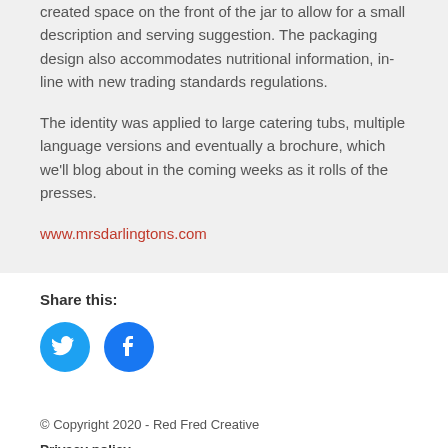created space on the front of the jar to allow for a small description and serving suggestion. The packaging design also accommodates nutritional information, in-line with new trading standards regulations.
The identity was applied to large catering tubs, multiple language versions and eventually a brochure, which we'll blog about in the coming weeks as it rolls of the presses.
www.mrsdarlingtons.com
Share this:
[Figure (other): Twitter and Facebook social share icon buttons (circular blue icons)]
© Copyright 2020 - Red Fred Creative
Privacy policy